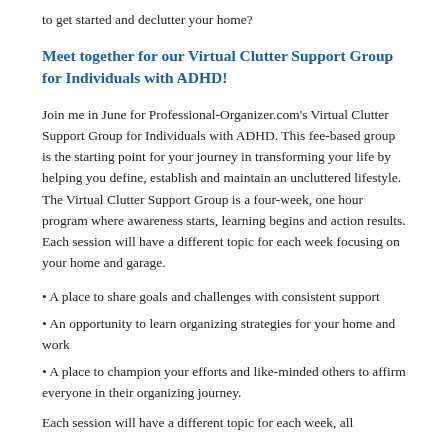to get started and declutter your home?
Meet together for our Virtual Clutter Support Group for Individuals with ADHD!
Join me in June for Professional-Organizer.com's Virtual Clutter Support Group for Individuals with ADHD. This fee-based group is the starting point for your journey in transforming your life by helping you define, establish and maintain an uncluttered lifestyle. The Virtual Clutter Support Group is a four-week, one hour program where awareness starts, learning begins and action results. Each session will have a different topic for each week focusing on your home and garage.
• A place to share goals and challenges with consistent support
• An opportunity to learn organizing strategies for your home and work
• A place to champion your efforts and like-minded others to affirm everyone in their organizing journey.
Each session will have a different topic for each week, all